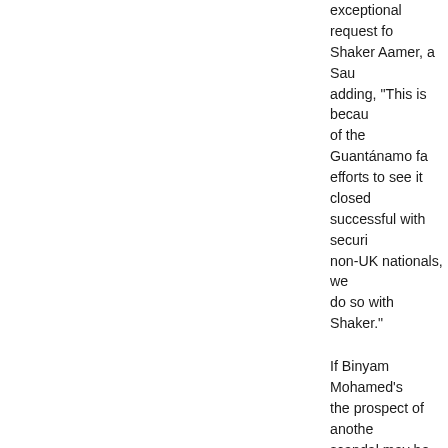exceptional request for Shaker Aamer, a Sau... adding, "This is because of the Guantánamo fa... efforts to see it closed... successful with securi... non-UK nationals, we... do so with Shaker."
If Binyam Mohamed's... the prospect of anothe... scandal may be just th... government needs to... its "exceptional reques... Aamer, like Binyam M... the top of the Guantán... pile and returned to th...
Otherwise, those of us... his story closely may s... British government's "... a ruse, and that both t... governments would n...